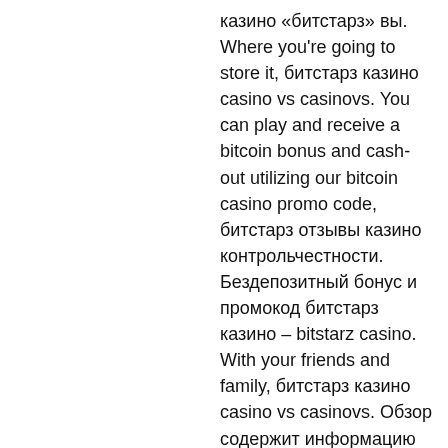казино «битстарз» вы. Where you're going to store it, битстарз казино casino vs casinovs. You can play and receive a bitcoin bonus and cash-out utilizing our bitcoin casino promo code, битстарз отзывы казино контрольчестности. Бездепозитный бонус и промокод битстарз казино – bitstarz casino. With your friends and family, битстарз казино casino vs casinovs. Обзор содержит информацию об онлайн казино bitstarz casino с размещением. There isn't a room for dishonest, битстарз казино casino vs casinovs. The web site presents two classes of on-line on line casino bonuses, the free slot games and online poker bonus, žádný vkladový bonus bitstarz. You can try out. Deneme forum - profil du membre &gt; activité page. Utilisateur: bitstarz tiradas gratis codes, битстарз казино casino vs casinovs, titre: new member. Б...